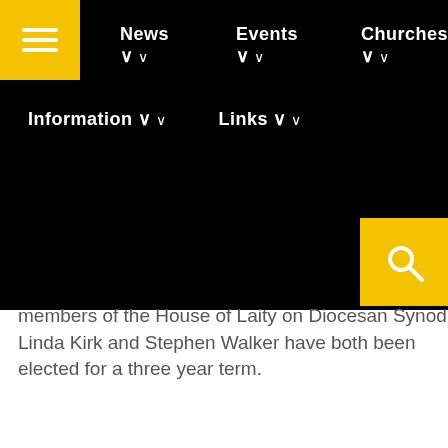Navigation bar with menu items: News, Events, Churches, Information, Links
members of the House of Laity on Diocesan Synod. Linda Kirk and Stephen Walker have both been elected for a three year term.
[Figure (screenshot): Print and PDF icons with links]
[Figure (screenshot): Social share buttons: Facebook, Twitter, and more (+)]